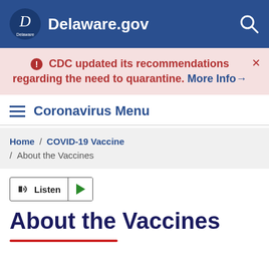Delaware.gov
CDC updated its recommendations regarding the need to quarantine. More Info→
Coronavirus Menu
Home / COVID-19 Vaccine / About the Vaccines
Listen
About the Vaccines